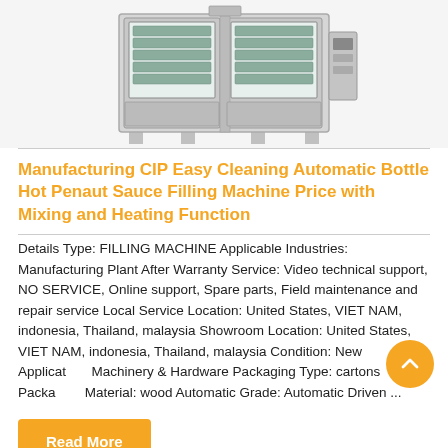[Figure (photo): Industrial filling machine — a large boxy stainless-steel unit with two glass-fronted cabinet sections showing internal bottle-filling mechanisms, mounted on short legs, with a control panel on the right side. Background is white/light grey.]
Manufacturing CIP Easy Cleaning Automatic Bottle Hot Penaut Sauce Filling Machine Price with Mixing and Heating Function
Details Type: FILLING MACHINE Applicable Industries: Manufacturing Plant After Warranty Service: Video technical support, NO SERVICE, Online support, Spare parts, Field maintenance and repair service Local Service Location: United States, VIET NAM, indonesia, Thailand, malaysia Showroom Location: United States, VIET NAM, indonesia, Thailand, malaysia Condition: New Application: Machinery & Hardware Packaging Type: cartons Packaging Material: wood Automatic Grade: Automatic Driven ...
Read More